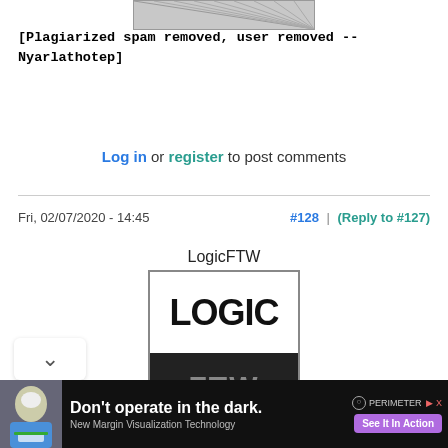[Figure (illustration): Partial avatar/profile image at top, showing hatched/striped pattern]
[Plagiarized spam removed, user removed -- Nyarlathotep]
Log in or register to post comments
Fri, 02/07/2020 - 14:45
#128 | (Reply to #127)
LogicFTW
[Figure (logo): LogicFTW avatar: white box with bold black LOGIC text on top, dark background with FTW text on bottom]
"Why There Is No God" for free by joining our
[Figure (photo): Advertisement: person in surgical mask, 'Don't operate in the dark.' Perimeter ad with 'See It In Action' button]